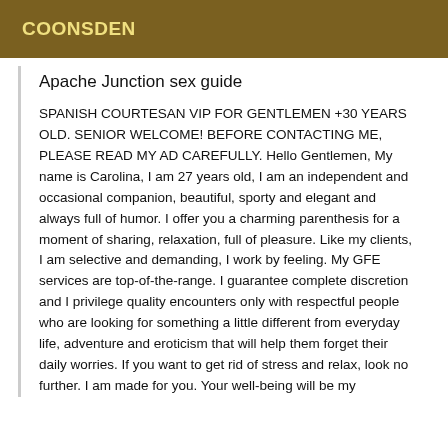COONSDEN
Apache Junction sex guide
SPANISH COURTESAN VIP FOR GENTLEMEN +30 YEARS OLD. SENIOR WELCOME! BEFORE CONTACTING ME, PLEASE READ MY AD CAREFULLY. Hello Gentlemen, My name is Carolina, I am 27 years old, I am an independent and occasional companion, beautiful, sporty and elegant and always full of humor. I offer you a charming parenthesis for a moment of sharing, relaxation, full of pleasure. Like my clients, I am selective and demanding, I work by feeling. My GFE services are top-of-the-range. I guarantee complete discretion and I privilege quality encounters only with respectful people who are looking for something a little different from everyday life, adventure and eroticism that will help them forget their daily worries. If you want to get rid of stress and relax, look no further. I am made for you. Your well-being will be my